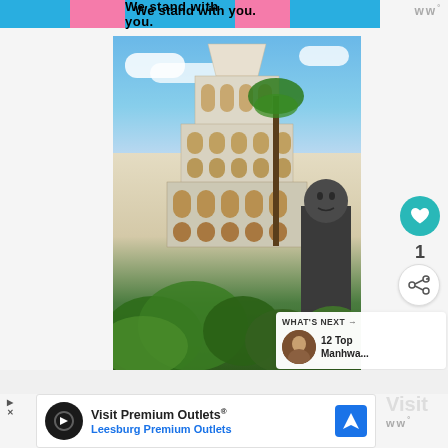[Figure (screenshot): Top banner advertisement with blue background, pink accent bars, and bold text 'We stand with you.']
[Figure (photo): Photograph of a multi-tiered white Buddhist temple/pagoda with ornate arches, surrounded by palm trees and tropical greenery, with a large dark Buddha statue standing to the right, under a blue sky with clouds.]
1
WHAT'S NEXT → 12 Top Manhwa...
[Figure (screenshot): Bottom advertisement banner for 'Visit Premium Outlets® Leesburg Premium Outlets' with black circular logo, navigation icon, and partial right-side 'Visit' text clipped.]